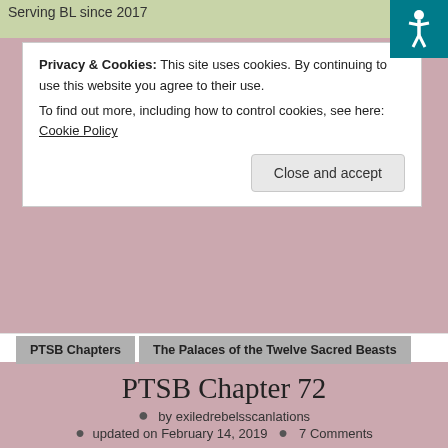Serving BL since 2017
Privacy & Cookies: This site uses cookies. By continuing to use this website you agree to their use.
To find out more, including how to control cookies, see here: Cookie Policy
Close and accept
PTSB Chapters
The Palaces of the Twelve Sacred Beasts
PTSB Chapter 72
by exiledrebelsscanlations
updated on February 14, 2019   7 Comments
Previous Chapter
Next Chapter